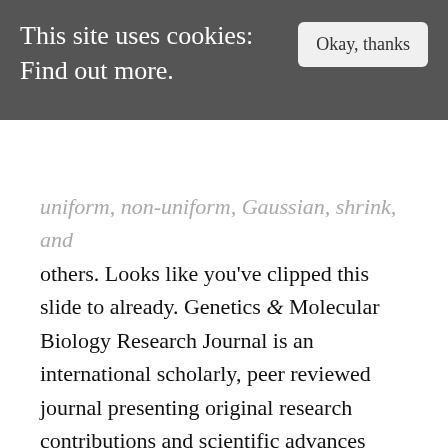This site uses cookies: Find out more.
uniform, non-uniform, Gaussian, shrink, and others. Looks like you’ve clipped this slide to already. Genetics & Molecular Biology Research Journal is an international scholarly, peer reviewed journal presenting original research contributions and scientific advances related to the field of genes, genetic variation and macromolecules. Slideshare uses cookies to improve functionality and performance, and to provide you with relevant advertising. Viruses must infect cells and use